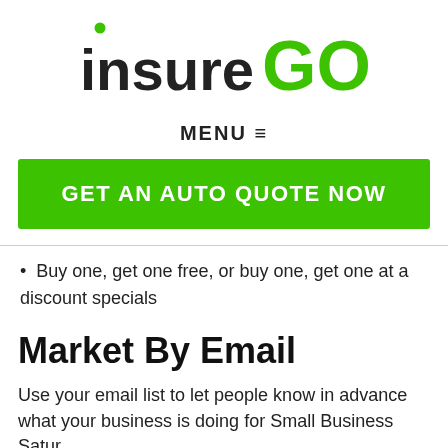[Figure (logo): insureGO logo with 'insure' in dark/black and 'GO' in green, dot above the 'i' in green]
MENU ≡
GET AN AUTO QUOTE NOW
Buy one, get one free, or buy one, get one at a discount specials
Market By Email
Use your email list to let people know in advance what your business is doing for Small Business Saturday.